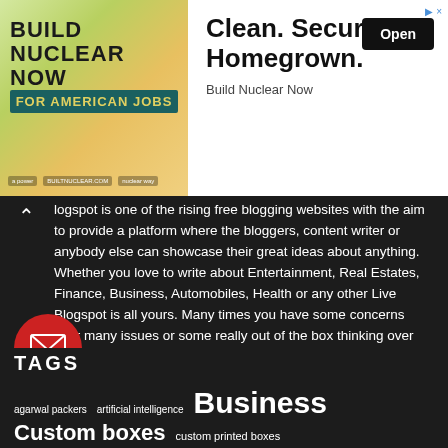[Figure (screenshot): Advertisement banner: left side shows 'BUILD NUCLEAR NOW FOR AMERICAN JOBS' on a colorful background; right side shows 'Clean. Secure. Homegrown.' with an 'Open' button and 'Build Nuclear Now' text]
logspot is one of the rising free blogging websites with the aim to provide a platform where the bloggers, content writer or anybody else can showcase their great ideas about anything. Whether you love to write about Entertainment, Real Estates, Finance, Business, Automobiles, Health or any other Live Blogspot is all yours. Many times you have some concerns over many issues or some really out of the box thinking over certain things, problem you have is the lack of platform to express your views, Live t is specially meant for this purpose only.
So whether you are fresh bloggers or writing since decades we have platform for you to let the world know what you think. To start blogging with us you don't need to have technical knowledge as your words are sufficient.
TAGS
agarwal packers
artificial intelligence
Business
Custom boxes
custom printed boxes